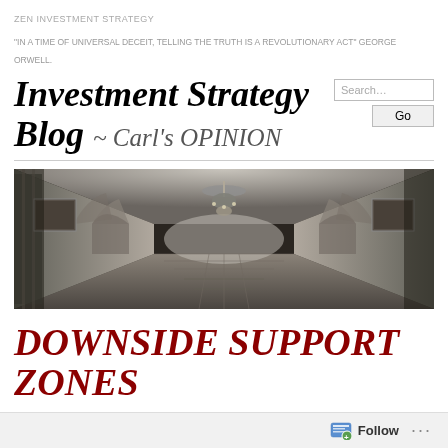ZEN INVESTMENT STRATEGY
"IN A TIME OF UNIVERSAL DECEIT, TELLING THE TRUTH IS A REVOLUTIONARY ACT" GEORGE ORWELL.
Investment Strategy Blog ~ Carl's OPINION
[Figure (photo): Black and white photograph of an ornate hallway with arched columns, chandelier, and artwork on walls]
DOWNSIDE SUPPORT ZONES